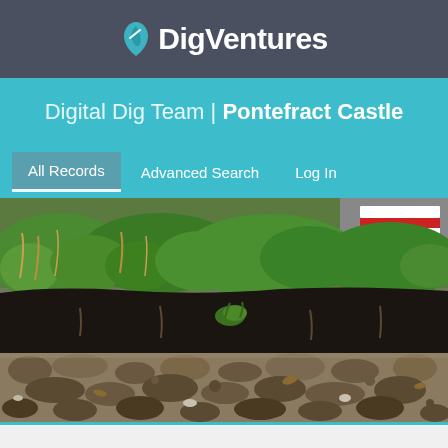DigVentures
Digital Dig Team | Pontefract Castle
All Records  Advanced Search  Log In
[Figure (photo): Archaeological excavation photo showing a soil profile with green grass and vegetation at top, dark soil layer in the middle, and stone rubble at the bottom. A red and white barrier is visible in the background top right.]